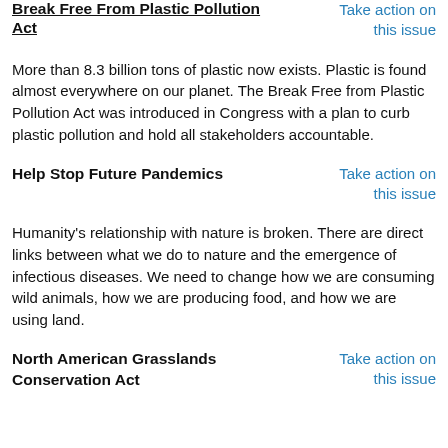Break Free From Plastic Pollution Act
Take action on this issue
More than 8.3 billion tons of plastic now exists. Plastic is found almost everywhere on our planet. The Break Free from Plastic Pollution Act was introduced in Congress with a plan to curb plastic pollution and hold all stakeholders accountable.
Help Stop Future Pandemics
Take action on this issue
Humanity's relationship with nature is broken. There are direct links between what we do to nature and the emergence of infectious diseases. We need to change how we are consuming wild animals, how we are producing food, and how we are using land.
North American Grasslands Conservation Act
Take action on this issue